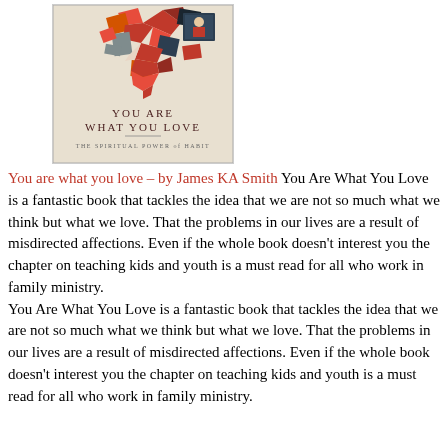[Figure (illustration): Book cover of 'You Are What You Love: The Spiritual Power of Habit' by James KA Smith. Features a heart-shaped collage of geometric shapes in red, navy, and beige tones on a light background.]
You are what you love – by James KA Smith You Are What You Love is a fantastic book that tackles the idea that we are not so much what we think but what we love. That the problems in our lives are a result of misdirected affections. Even if the whole book doesn't interest you the chapter on teaching kids and youth is a must read for all who work in family ministry.
You Are What You Love is a fantastic book that tackles the idea that we are not so much what we think but what we love. That the problems in our lives are a result of misdirected affections. Even if the whole book doesn't interest you the chapter on teaching kids and youth is a must read for all who work in family ministry.